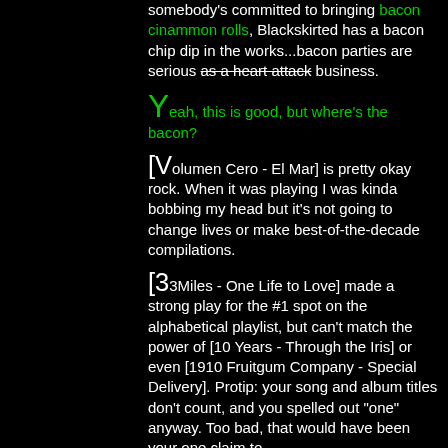somebody's committed to bringing bacon cinammon rolls, Blackskirted has a bacon chip dip in the works...bacon parties are serious as a heart attack business.
Yeah, this is good, but where's the bacon?
[Volumen Cero - El Mar] is pretty okay rock. When it was playing I was kinda bobbing my head but it's not going to change lives or make best-of-the-decade compilations.
[33Miles - One Life to Love] made a strong play for the #1 spot on the alphabetical playlist, but can't match the power of [10 Years - Through the Iris] or even [1910 Fruitgum Company - Special Delivery]. Protip: your song and album titles don't count, and you spelled out "one" anyway. Too bad, that would have been your one claim to